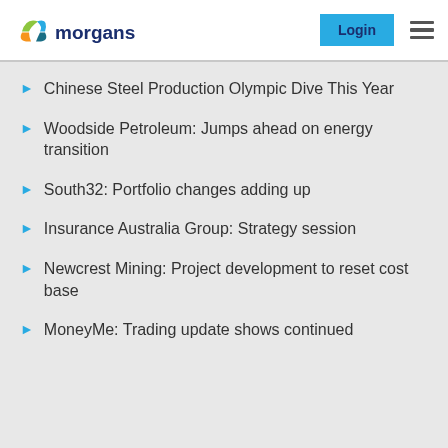morgans | Login
Chinese Steel Production Olympic Dive This Year
Woodside Petroleum: Jumps ahead on energy transition
South32: Portfolio changes adding up
Insurance Australia Group: Strategy session
Newcrest Mining: Project development to reset cost base
MoneyMe: Trading update shows continued